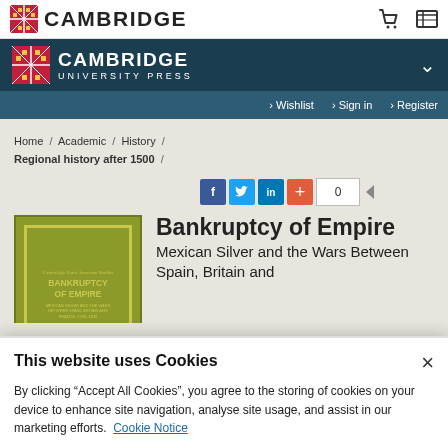CAMBRIDGE
CAMBRIDGE UNIVERSITY PRESS
Wishlist  Sign in  Register
Home / Academic / History / Regional history after 1500
[Figure (screenshot): Book cover for Bankruptcy of Empire showing olive/yellow-green cover with title text]
Bankruptcy of Empire
Mexican Silver and the Wars Between Spain, Britain and
This website uses Cookies
By clicking “Accept All Cookies”, you agree to the storing of cookies on your device to enhance site navigation, analyse site usage, and assist in our marketing efforts. Cookie Notice